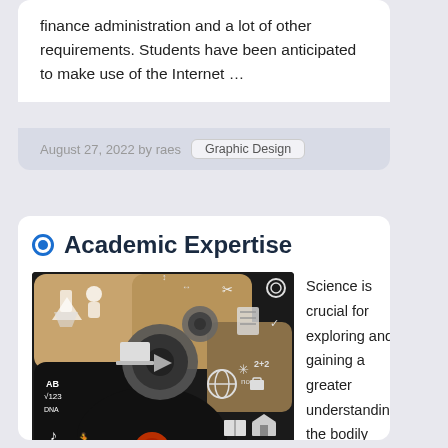finance administration and a lot of other requirements. Students have been anticipated to make use of the Internet …
August 27, 2022 by raes   Graphic Design
Academic Expertise
[Figure (illustration): Colorful infographic illustration showing speech bubbles and icons related to various academic subjects including science, math, music, biology, technology, and more, featuring gears and a human head silhouette.]
Science is crucial for exploring and gaining a greater understanding the bodily world …